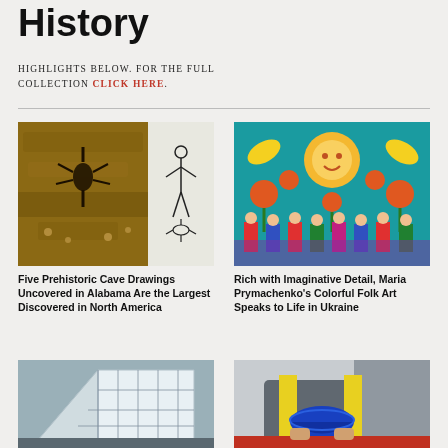History
HIGHLIGHTS BELOW. FOR THE FULL COLLECTION CLICK HERE.
[Figure (photo): Two prehistoric cave drawings on rock surfaces beside a white panel with a black ink drawing of a figure]
[Figure (photo): Colorful Ukrainian folk art painting by Maria Prymachenko featuring sun, flowers, birds, and people in traditional dress]
Five Prehistoric Cave Drawings Uncovered in Alabama Are the Largest Discovered in North America
Rich with Imaginative Detail, Maria Prymachenko's Colorful Folk Art Speaks to Life in Ukraine
[Figure (photo): Aerial or elevated view of a large white structure or tent-like building under construction]
[Figure (photo): Person in yellow safety vest holding a blue glass bowl outdoors]